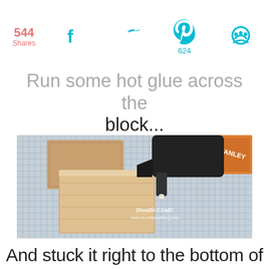544 Shares
Run some hot glue across the block...
[Figure (photo): A hot glue gun applying glue to the top edge of a rectangular wooden block on a cutting mat. Another wooden block is visible in the background. An orange box is on the right side. Watermark reads 'Doodle Craft!']
And stuck it right to the bottom of